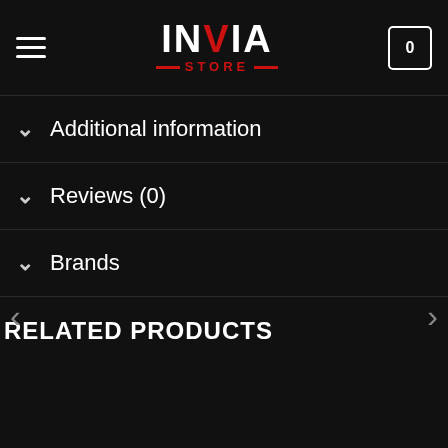INVIA STORE — hamburger menu, cart (0)
Additional information
Reviews (0)
Brands
RELATED PRODUCTS